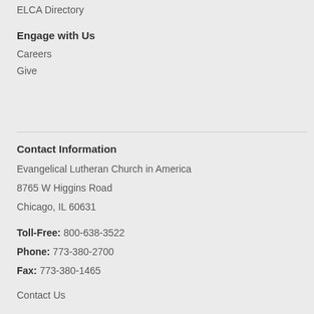ELCA Directory
Engage with Us
Careers
Give
Contact Information
Evangelical Lutheran Church in America
8765 W Higgins Road
Chicago, IL 60631
Toll-Free: 800-638-3522
Phone: 773-380-2700
Fax: 773-380-1465
Contact Us